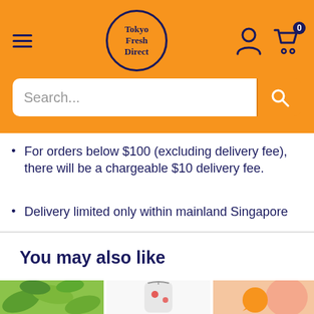[Figure (screenshot): Tokyo Fresh Direct website header with orange background, hamburger menu, circular logo, user icon, and cart icon with badge '0']
[Figure (screenshot): Search bar with placeholder text 'Search...' and orange search button]
For orders below $100 (excluding delivery fee), there will be a chargeable $10 delivery fee.
Delivery limited only within mainland Singapore
You may also like
[Figure (photo): Green edamame beans in pods on a bamboo mat]
[Figure (photo): Hands holding a transparent bag with Japanese candy or food items]
[Figure (photo): Close-up of a peach fruit with orange chat bubble overlay icon]